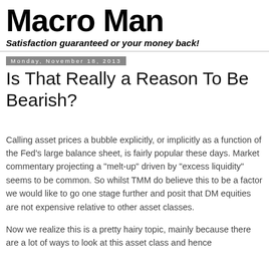Macro Man
Satisfaction guaranteed or your money back!
Monday, November 18, 2013
Is That Really a Reason To Be Bearish?
Calling asset prices a bubble explicitly, or implicitly as a function of the Fed’s large balance sheet, is fairly popular these days. Market commentary projecting a “melt-up” driven by “excess liquidity” seems to be common. So whilst TMM do believe this to be a factor we would like to go one stage further and posit that DM equities are not expensive relative to other asset classes.
Now we realize this is a pretty hairy topic, mainly because there are a lot of ways to look at this asset class and hence...